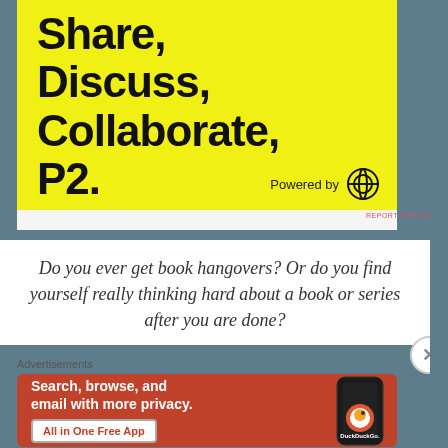[Figure (infographic): Yellow advertisement banner with bold black text reading 'Share, Discuss, Collaborate, P2.' and 'Powered by WordPress' logo at bottom right]
REPORT THIS AD
Do you ever get book hangovers? Or do you find yourself really thinking hard about a book or series after you are done?
Advertisements
[Figure (infographic): DuckDuckGo orange advertisement banner with text 'Search, browse, and email with more privacy. All in One Free App' and phone showing DuckDuckGo logo]